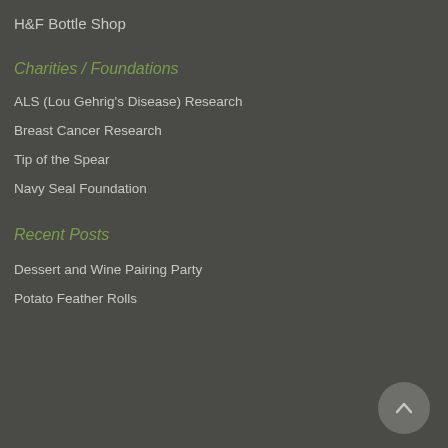H&F Bottle Shop
Charities / Foundations
ALS (Lou Gehrig's Disease) Research
Breast Cancer Research
Tip of the Spear
Navy Seal Foundation
Recent Posts
Dessert and Wine Pairing Party
Potato Feather Rolls